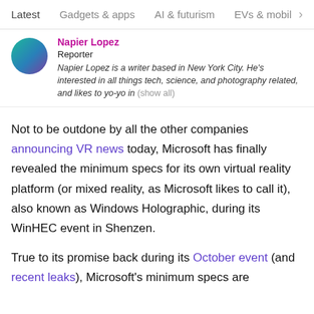Latest   Gadgets & apps   AI & futurism   EVs & mobil  >
Napier Lopez
Reporter
Napier Lopez is a writer based in New York City. He's interested in all things tech, science, and photography related, and likes to yo-yo in (show all)
Not to be outdone by all the other companies announcing VR news today, Microsoft has finally revealed the minimum specs for its own virtual reality platform (or mixed reality, as Microsoft likes to call it), also known as Windows Holographic, during its WinHEC event in Shenzen.
True to its promise back during its October event (and recent leaks), Microsoft's minimum specs are